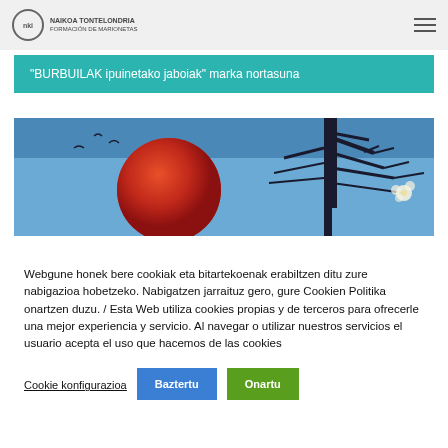NAIKOA TONTELONDRIA | Formación de Marionetas
“BURBUILAK ipuinetako jaboiak” marka nortasuna
[Figure (photo): A blood-red moon against a blue sky with dark tree silhouettes and birds in flight]
Webgune honek bere cookiak eta bitartekoenak erabiltzen ditu zure nabigazioa hobetzeko. Nabigatzen jarraituz gero, gure Cookien Politika onartzen duzu. / Esta Web utiliza cookies propias y de terceros para ofrecerle una mejor experiencia y servicio. Al navegar o utilizar nuestros servicios el usuario acepta el uso que hacemos de las cookies
Cookie konfigurazioa
Baztertu
Onartu